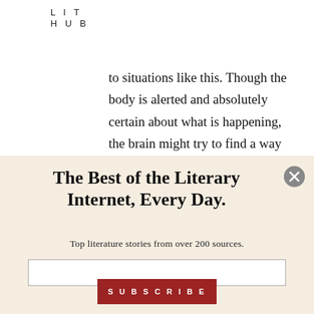LIT
HUB
to situations like this. Though the body is alerted and absolutely certain about what is happening, the brain might try to find a way to reason out of it. Was there a word for disbelief in one's own senses?
The Best of the Literary Internet, Every Day.
Top literature stories from over 200 sources.
SUBSCRIBE